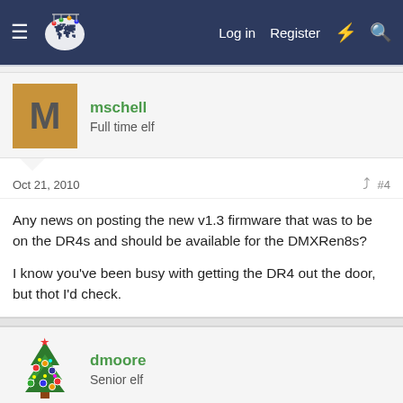Forum navigation bar with Log in, Register links
mschell
Full time elf
Oct 21, 2010   #4
Any news on posting the new v1.3 firmware that was to be on the DR4s and should be available for the DMXRen8s?

I know you've been busy with getting the DR4 out the door, but thot I'd check.
dmoore
Senior elf
Oct 21, 2010   #5